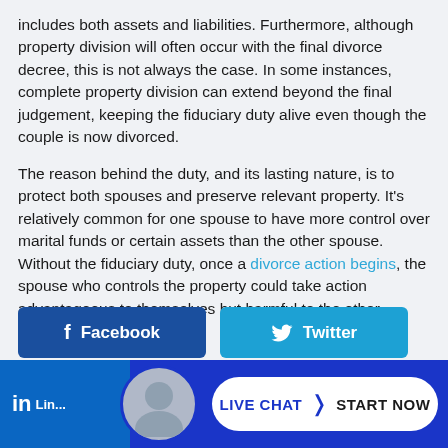includes both assets and liabilities. Furthermore, although property division will often occur with the final divorce decree, this is not always the case. In some instances, complete property division can extend beyond the final judgement, keeping the fiduciary duty alive even though the couple is now divorced.
The reason behind the duty, and its lasting nature, is to protect both spouses and preserve relevant property. It’s relatively common for one spouse to have more control over marital funds or certain assets than the other spouse. Without the fiduciary duty, once a divorce action begins, the spouse who controls the property could take action advantageous to themselves but harmful to the other spouse.
[Figure (infographic): Social share buttons: Facebook (dark blue) and Twitter (sky blue), followed by a bottom bar with LinkedIn button, avatar photo, and a white pill-shaped Live Chat / Start Now button on a dark blue background.]